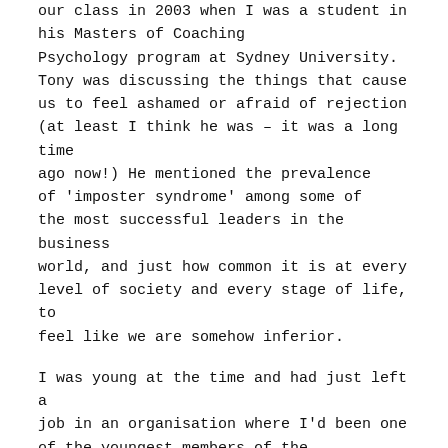our class in 2003 when I was a student in his Masters of Coaching Psychology program at Sydney University. Tony was discussing the things that cause us to feel ashamed or afraid of rejection (at least I think he was – it was a long time ago now!) He mentioned the prevalence of 'imposter syndrome' among some of the most successful leaders in the business world, and just how common it is at every level of society and every stage of life, to feel like we are somehow inferior.

I was young at the time and had just left a job in an organisation where I'd been one of the youngest members of the management team (by about two decades!) Instead of feeling proud of that position, I'd mostly felt like a kid playing at the grown up's table.